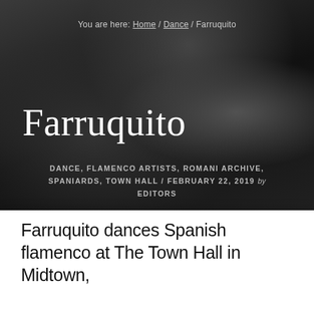[Figure (photo): Dark monochrome background photo of a flamenco dancer in black clothing, used as a hero image behind the title and breadcrumb navigation.]
You are here: Home / Dance / Farruquito
Farruquito
DANCE, FLAMENCO ARTISTS, ROMANI ARCHIVE, SPANIARDS, TOWN HALL / FEBRUARY 22, 2019 by EDITORS
Farruquito dances Spanish flamenco at The Town Hall in Midtown,